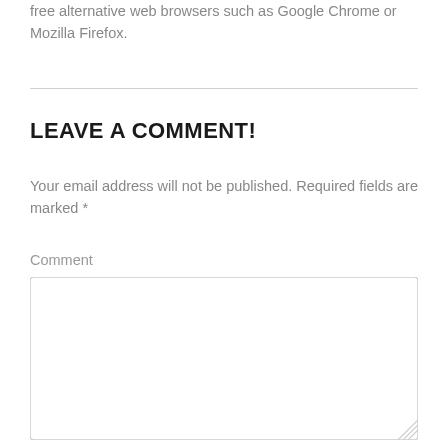free alternative web browsers such as Google Chrome or Mozilla Firefox.
LEAVE A COMMENT!
Your email address will not be published. Required fields are marked *
Comment
[Figure (other): Empty comment textarea input box with rounded border and resize handle]